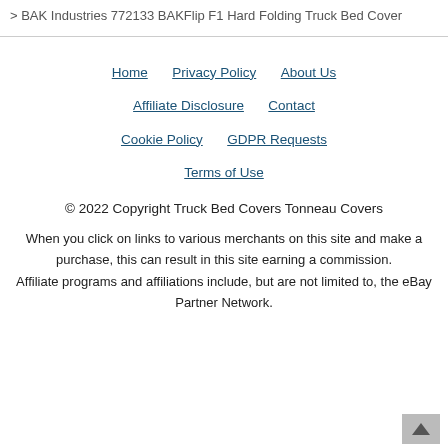> BAK Industries 772133 BAKFlip F1 Hard Folding Truck Bed Cover
Home | Privacy Policy | About Us | Affiliate Disclosure | Contact | Cookie Policy | GDPR Requests | Terms of Use
© 2022 Copyright Truck Bed Covers Tonneau Covers
When you click on links to various merchants on this site and make a purchase, this can result in this site earning a commission. Affiliate programs and affiliations include, but are not limited to, the eBay Partner Network.